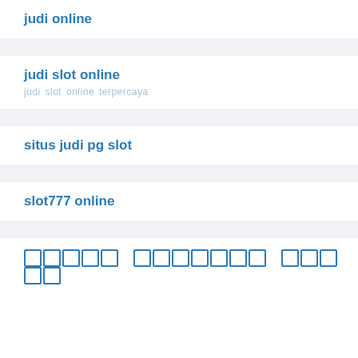judi online
judi slot online
situs judi pg slot
slot777 online
สมัคร สล็อต ออนไลน์